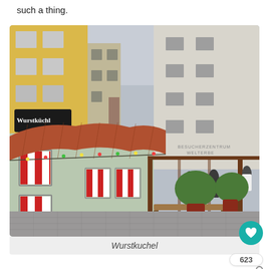such a thing.
[Figure (photo): Exterior photo of Wurstkuchel restaurant in Regensburg, Germany. A small historic building with a terracotta tiled roof, light green walls, and red-and-white striped window shutters. An outdoor seating area with wooden benches is visible under a wooden pergola. Large potted topiary bushes and people standing outside. Multi-story buildings including a yellow one and a white one labeled BESUCHERZENTRUM WELTERBE in the background. Cobblestone square in foreground.]
Wurstkuchel